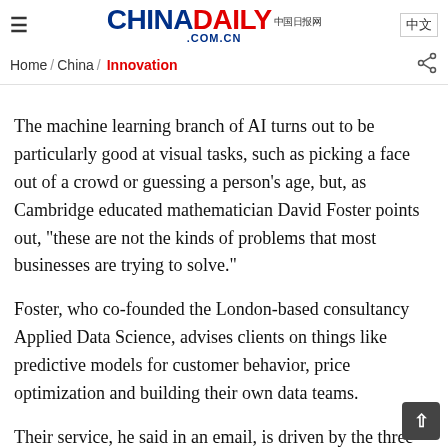≡  CHINADAILY 中国日报网 .COM.CN  中文
Home / China / Innovation
The machine learning branch of AI turns out to be particularly good at visual tasks, such as picking a face out of a crowd or guessing a person's age, but, as Cambridge educated mathematician David Foster points out, "these are not the kinds of problems that most businesses are trying to solve."
Foster, who co-founded the London-based consultancy Applied Data Science, advises clients on things like predictive models for customer behavior, price optimization and building their own data teams.
Their service, he said in an email, is driven by the three key aspects of any data science project: the business